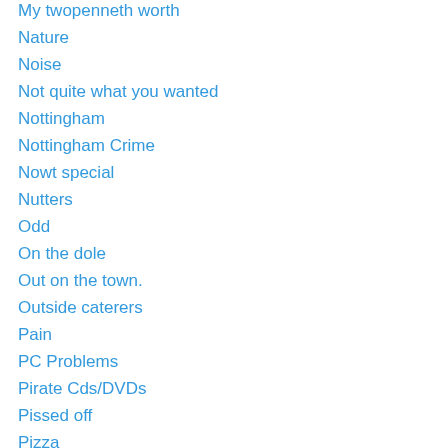My twopenneth worth
Nature
Noise
Not quite what you wanted
Nottingham
Nottingham Crime
Nowt special
Nutters
Odd
On the dole
Out on the town.
Outside caterers
Pain
PC Problems
Pirate Cds/DVDs
Pissed off
Pizza
Plants
Plot